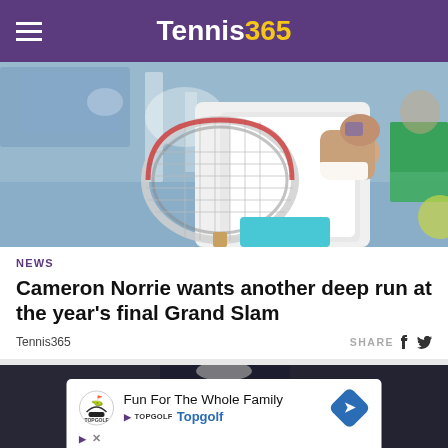Tennis365
[Figure (photo): Tennis player in white shirt holding a racket with fist pump, blurred blue stadium seats in background]
NEWS
Cameron Norrie wants another deep run at the year’s final Grand Slam
Tennis365    SHARE
[Figure (photo): Advertisement banner: Fun For The Whole Family - Topgolf, overlaid on dark background photo]